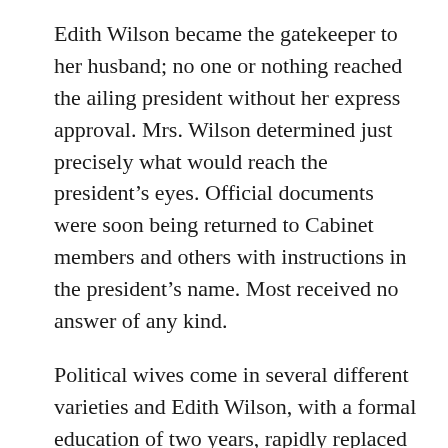Edith Wilson became the gatekeeper to her husband; no one or nothing reached the ailing president without her express approval. Mrs. Wilson determined just precisely what would reach the president's eyes. Official documents were soon being returned to Cabinet members and others with instructions in the president's name. Most received no answer of any kind.
Political wives come in several different varieties and Edith Wilson, with a formal education of two years, rapidly replaced Colonel Edward M. House as the president's closest confidant and political adviser. Even before they were married, President Wilson routinely forwarded official documents to Edith for her to read and she felt free to offer whatever criticism or comments she cared to make. Mrs. Wilson frequently decoded